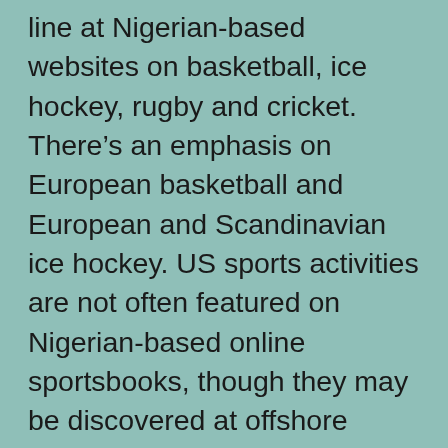line at Nigerian-based websites on basketball, ice hockey, rugby and cricket. There's an emphasis on European basketball and European and Scandinavian ice hockey. US sports activities are not often featured on Nigerian-based online sportsbooks, though they may be discovered at offshore websites. Within the nation, the Nigeria Football Federation oversees each professional and newbie play, for each men and women. Nigerian fans have an excellent understanding of the sport and revel in betting on soccer parlays as nicely as props. You'll additionally find commonplace match wagers being made